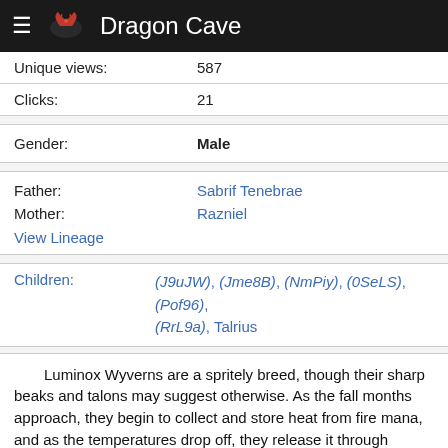Dragon Cave
| Unique views: | 587 |
| Clicks: | 21 |
| Gender: | Male |
| Father: | Sabrif Tenebrae |
| Mother: | Razniel |
| Children: | (J9uJW), (Jme8B), (NmPiy), (0SeLS), (Pof96), (RrL9a), Talrius |
Luminox Wyverns are a spritely breed, though their sharp beaks and talons may suggest otherwise. As the fall months approach, they begin to collect and store heat from fire mana, and as the temperatures drop off, they release it through localized spots on their bodies. This enchanted heat creates a bubble of warmth around the dragon, not dissimilar to sitting by a fire, and it causes parts of their hides to glow a striking orange. They are very popular with children, who are enraptured by their bright wingtips, glowing